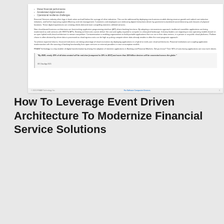[Figure (screenshot): Preview of a document page showing bullet points about financial performance, accelerated digital adoption, and operational resilience challenges, followed by paragraphs of text about financial services industry, and a pull quote about real-time data and connected devices by 2025]
How To Leverage Event Driven Architecture To Modernize Financial Service Solutions
[Figure (screenshot): Preview of a webinar or content card showing a dark navy blue background image with ON24 and NetLine logos and partial title text 'B2B Trends: How Intent Data...']